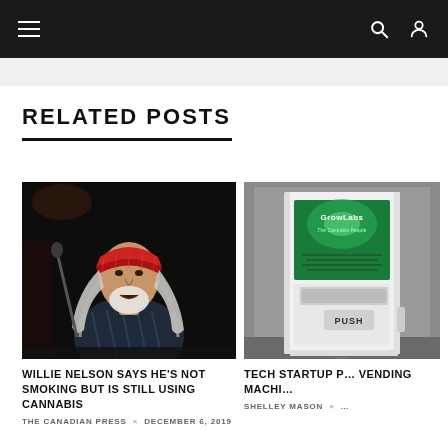Navigation bar with hamburger menu, search and user icons
RELATED POSTS
[Figure (photo): Willie Nelson performing on stage, wearing a red bandana, with long white hair, singing into a microphone against a dark background]
WILLIE NELSON SAYS HE'S NOT SMOKING BUT IS STILL USING CANNABIS
THE CANADIAN PRESS × DECEMBER 6, 2019
[Figure (photo): A white cannabis vending machine with a green GrowLabs branded panel and a PUSH button, set against a gray background]
TECH STARTUP P... VENDING MACHI...
SHELLEY MASON × ...